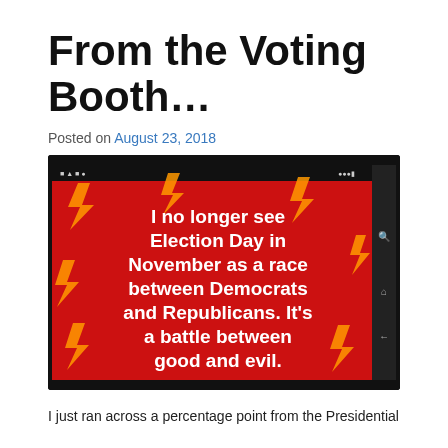From the Voting Booth…
Posted on August 23, 2018
[Figure (screenshot): Screenshot of a tablet showing a meme with red background and orange lightning bolts. White bold text reads: I no longer see Election Day in November as a race between Democrats and Republicans. It's a battle between good and evil.]
I just ran across a percentage point from the Presidential